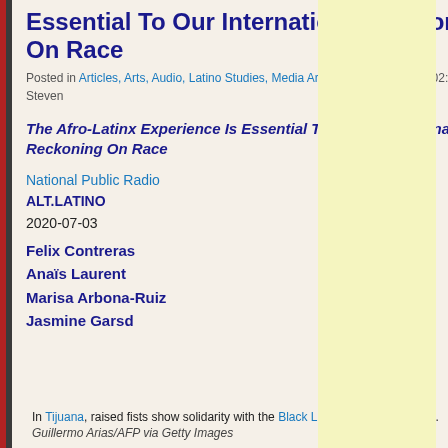Essential To Our International Reckoning On Race
Posted in Articles, Arts, Audio, Latino Studies, Media Archive on 2020-12-12 02:38Z by Steven
[Figure (other): QR code]
The Afro-Latinx Experience Is Essential To Our International Reckoning On Race
National Public Radio
ALT.LATINO
2020-07-03
Felix Contreras
Anaïs Laurent
Marisa Arbona-Ruiz
Jasmine Garsd
In Tijuana, raised fists show solidarity with the Black Lives Matter movement. Guillermo Arias/AFP via Getty Images